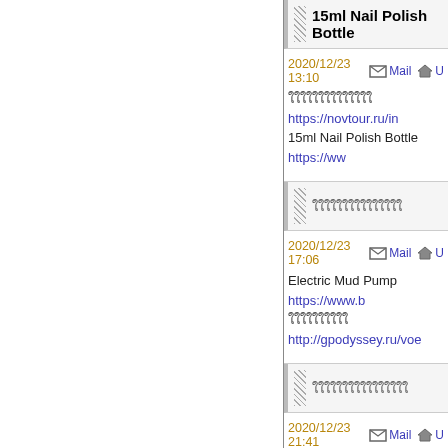15ml Nail Polish Bottle
2020/12/23 13:10
ใใใใใใใใใใใใใใ https://novtour.ru/in...
15ml Nail Polish Bottle https://ww...
ใใใใใใใใใใใใใใใ
2020/12/23 17:06
Electric Mud Pump https://www.b...
ใใใใใใใใใใ http://gpodyssey.ru/voe...
ใใใใใใใใใใใใใใใใ
2020/12/23 21:41
Fine Woven Cotton Fabric https://...
ใใใใใใใใใใใใใใใใใ http://www.enfe... detalle/16493.html
ใใใใใใใใ
2020/12/23 23:53